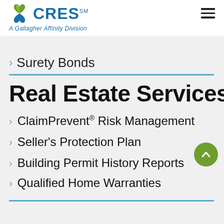CRES℠ A Gallagher Affinity Division
Surety Bonds
Real Estate Services
ClaimPrevent® Risk Management
Seller's Protection Plan
Building Permit History Reports
Qualified Home Warranties